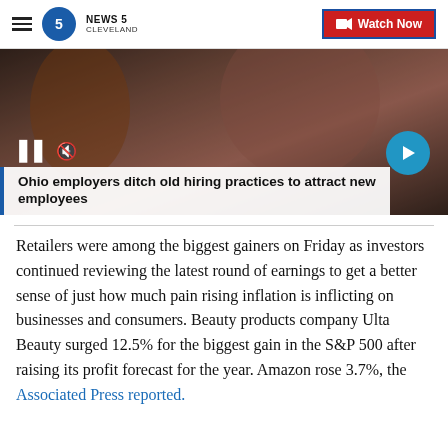NEWS 5 CLEVELAND — Watch Now
[Figure (screenshot): Video thumbnail showing people in a workplace setting with play/pause controls and a blue next-arrow button. Title overlay reads: Ohio employers ditch old hiring practices to attract new employees]
Ohio employers ditch old hiring practices to attract new employees
Retailers were among the biggest gainers on Friday as investors continued reviewing the latest round of earnings to get a better sense of just how much pain rising inflation is inflicting on businesses and consumers. Beauty products company Ulta Beauty surged 12.5% for the biggest gain in the S&P 500 after raising its profit forecast for the year. Amazon rose 3.7%, the Associated Press reported.